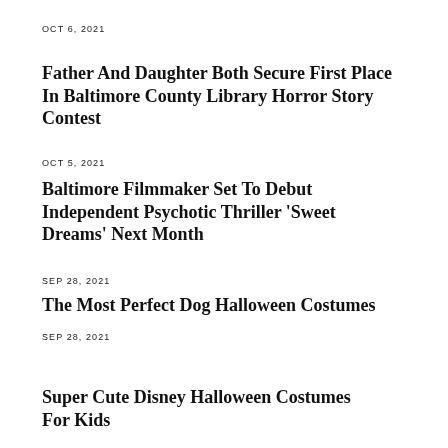OCT 6, 2021
Father And Daughter Both Secure First Place In Baltimore County Library Horror Story Contest
OCT 5, 2021
Baltimore Filmmaker Set To Debut Independent Psychotic Thriller 'Sweet Dreams' Next Month
SEP 28, 2021
The Most Perfect Dog Halloween Costumes
SEP 28, 2021
Super Cute Disney Halloween Costumes For Kids